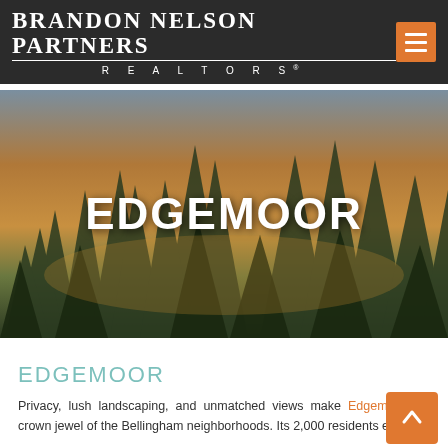BRANDON NELSON PARTNERS REALTORS®
[Figure (photo): Twilight forest scene with tall evergreen trees silhouetted against a warm sunset sky, used as hero banner for Edgemoor neighborhood page]
EDGEMOOR
EDGEMOOR
Privacy, lush landscaping, and unmatched views make Edgemoor the crown jewel of the Bellingham neighborhoods. Its 2,000 residents enjoy